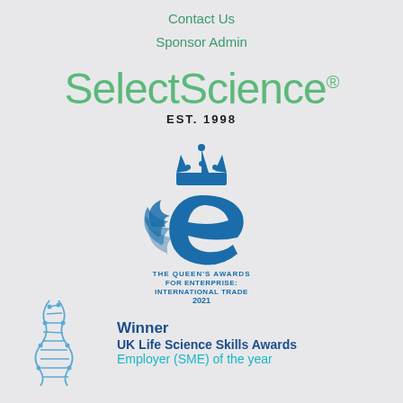Contact Us
Sponsor Admin
[Figure (logo): SelectScience logo with green text and registered trademark symbol, EST. 1998]
[Figure (logo): The Queen's Awards for Enterprise: International Trade 2021 logo featuring a crown and stylized blue 'e' with wings]
[Figure (illustration): Stylized blue DNA double helix illustration]
Winner
UK Life Science Skills Awards
Employer (SME) of the year